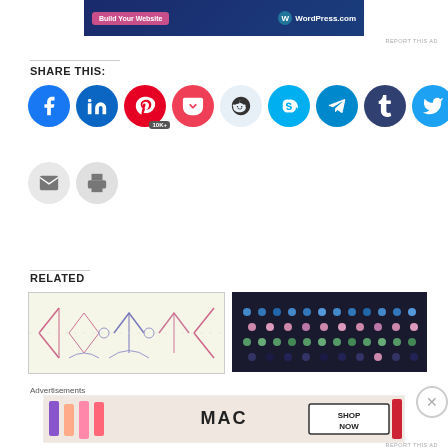[Figure (screenshot): WordPress.com advertisement banner - Build Your Website]
REPORT THIS AD
SHARE THIS:
[Figure (infographic): Social share buttons row: Facebook, LinkedIn, Pinterest (10K+), Pocket, Reddit, Skype, Telegram, Tumblr, Twitter, WhatsApp, Email, Print]
RELATED
[Figure (photo): Crochet pattern diagram with pink and blue symbols on white background]
[Figure (photo): Colorful granny square crochet pattern in blue, pink, and green on dark background]
Advertisements
[Figure (screenshot): MAC cosmetics advertisement with lipsticks - SHOP NOW]
REPORT THIS AD